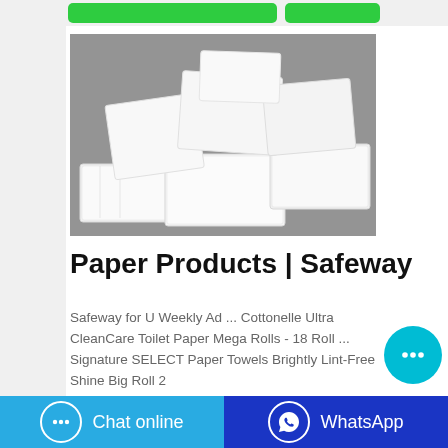[Figure (photo): Multiple stacked white paper product packs (tissue/paper napkin packs) arranged on a gray background]
Paper Products | Safeway
Safeway for U Weekly Ad ... Cottonelle Ultra CleanCare Toilet Paper Mega Rolls - 18 Roll ... Signature SELECT Paper Towels Brightly Lint-Free Shine Big Roll 2
[Figure (other): Cyan circular chat bubble floating button with ellipsis icon]
Chat online | WhatsApp